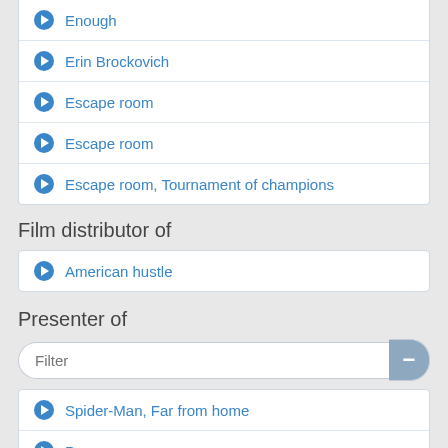Enough
Erin Brockovich
Escape room
Escape room
Escape room, Tournament of champions
Film distributor of
American hustle
Presenter of
Filter
Spider-Man, Far from home
Passengers
Spider-Man, Into the Spider-verse